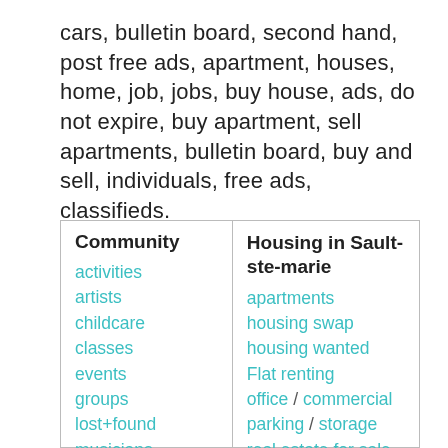cars, bulletin board, second hand, post free ads, apartment, houses, home, job, jobs, buy house, ads, do not expire, buy apartment, sell apartments, bulletin board, buy and sell, individuals, free ads, classifieds.
Community
activities
artists
childcare
classes
events
groups
lost+found
musicians
pets
Housing in Sault-ste-marie
apartments
housing swap
housing wanted
Flat renting
office / commercial
parking / storage
real estate for sale
rooms / shared